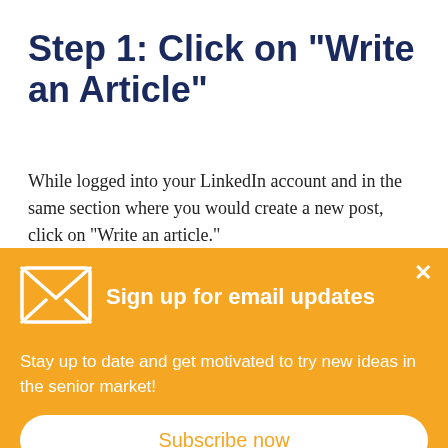Step 1: Click on "Write an Article"
While logged into your LinkedIn account and in the same section where you would create a new post, click on "Write an article."
LinkedIn seems to be changing the way things look by
[Figure (illustration): Orange email signup banner overlay with envelope icon, title 'Sign up for email updates', body text 'Stay up to date and get motivated to try new ideas in the senior market!', and a 'Subscribe now' button on white rounded rectangle. Close X button in top right corner.]